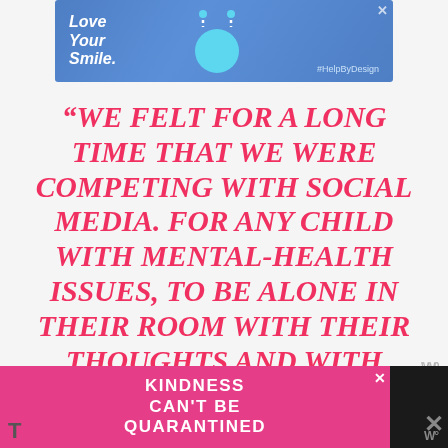[Figure (screenshot): Blue advertisement banner at top: 'Love Your Smile.' with dental icon and #HelpByDesign hashtag, with close X button]
“WE FELT FOR A LONG TIME THAT WE WERE COMPETING WITH SOCIAL MEDIA. FOR ANY CHILD WITH MENTAL-HEALTH ISSUES, TO BE ALONE IN THEIR ROOM WITH THEIR THOUGHTS AND WITH TIKTOK IS A DANGEROUS COMBINATION.”
[Figure (screenshot): Pink advertisement banner at bottom: 'Kindness Can't Be Quarantined' with close X button]